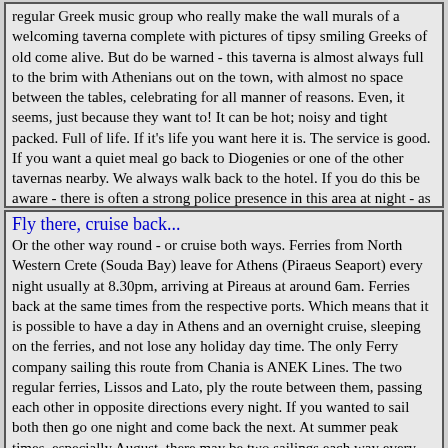regular Greek music group who really make the wall murals of a welcoming taverna complete with pictures of tipsy smiling Greeks of old come alive.  But do be warned - this taverna is almost always full to the brim with Athenians out on the town, with almost no space between the tables, celebrating for all manner of reasons.  Even, it seems, just because they want to!  It can be hot; noisy and tight packed.  Full of life.  If it's life you want here it is.  The service is good.  If you want a quiet meal go back to Diogenies or one of the other tavernas nearby.  We always walk back to the hotel.  If you do this be aware - there is often a strong police presence in this area at night - as in any major city centre area at night, so if you stay with the bright lights there is no reason not to feel safe.  And when you get back to the hotel the floodlit Acropolis greets you from your room window or from the roof garden.  Cocoa or night-cap, don't stay inside and miss it.  Especially if it is moonlit!
Fly there, cruise back...
Or the other way round - or cruise both ways.  Ferries from North Western Crete (Souda Bay) leave for Athens (Piraeus Seaport) every night usually at 8.30pm, arriving at Pireaus at around 6am.  Ferries back at the same times from the respective ports.  Which means that it is possible to have a day in Athens and an overnight cruise, sleeping on the ferries, and not lose any holiday day time.  The only Ferry company sailing this route from Chania is ANEK Lines.  The two regular ferries, Lissos and Lato, ply the route between them, passing each other in opposite directions every night.  If you wanted to sail both then go one night and come back the next.  At summer peak times, especially August, there may be two sailings each way every day.  At these times of the year I would only attempt this method of getting a day in Athens if I were prepared to get stuck.  Strikes are not uncommon.  Milling crowds of strike-bound travelers places to avoid - especially in the heat of summer. In theory you could take your hire car but this would increase the cost by about